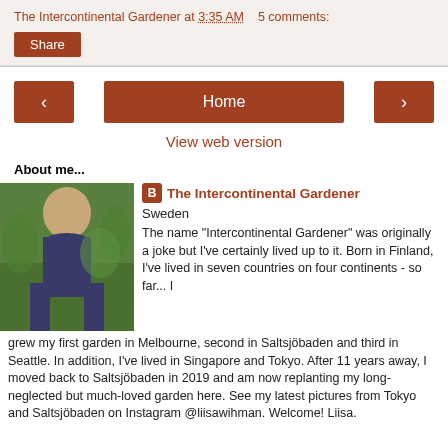The Intercontinental Gardener at 3:35 AM   5 comments:
Share
[Figure (screenshot): Navigation buttons: left arrow, Home, right arrow]
View web version
About me...
[Figure (photo): Profile photo of a person standing in a green garden]
The Intercontinental Gardener
Sweden
The name "Intercontinental Gardener" was originally a joke but I've certainly lived up to it. Born in Finland, I've lived in seven countries on four continents - so far... I grew my first garden in Melbourne, second in Saltsjöbaden and third in Seattle. In addition, I've lived in Singapore and Tokyo. After 11 years away, I moved back to Saltsjöbaden in 2019 and am now replanting my long-neglected but much-loved garden here. See my latest pictures from Tokyo and Saltsjöbaden on Instagram @liisawihman. Welcome! Liisa.